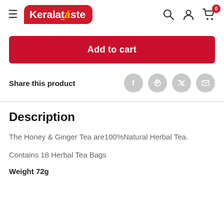Kerala Taste — navigation header with hamburger menu, logo, search, account, and cart icons
Add to cart
Share this product
Description
The Honey & Ginger Tea are100%Natural Herbal Tea.
Contains 18 Herbal Tea Bags
Weight 72g